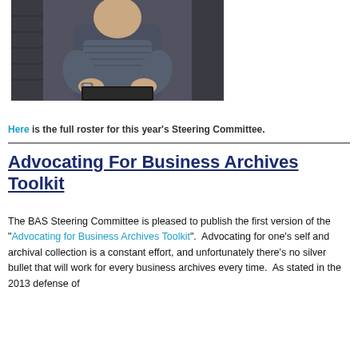[Figure (photo): A man sitting at a laptop, wearing a striped shirt and a watch, photographed from the waist up with a dark background.]
Here is the full roster for this year's Steering Committee.
Advocating For Business Archives Toolkit
The BAS Steering Committee is pleased to publish the first version of the "Advocating for Business Archives Toolkit".  Advocating for one's self and archival collection is a constant effort, and unfortunately there's no silver bullet that will work for every business archives every time.  As stated in the 2013 defense of